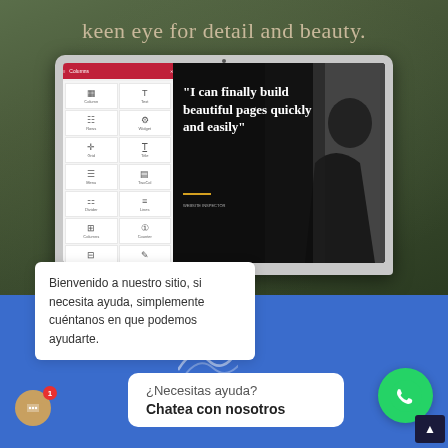keen eye for detail and beauty.
[Figure (screenshot): Screenshot of a laptop showing a website page builder interface. The left panel shows a grid of UI element icons (columns, text, dividers, etc.) with a red header bar. The main screen area shows a dark background with a bold white serif quote: '"I can finally build beautiful pages quickly and easily"' with a decorative gold line and author attribution. A person silhouette photo is on the right side of the screen.]
Bienvenido a nuestro sitio, si necesita ayuda, simplemente cuéntanos en que podemos ayudarte.
¿Necesitas ayuda? Chatea con nosotros